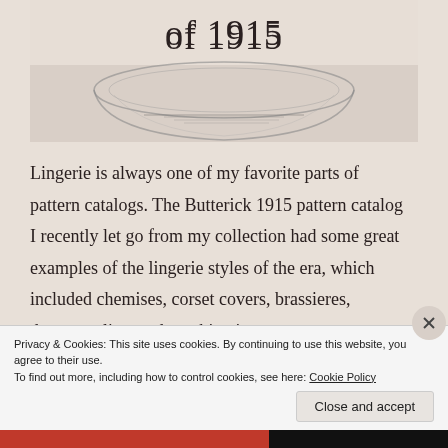[Figure (photo): Partial view of a glass bowl or dish with text overlay reading 'of 1915' at the top, showing lingerie catalog imagery from 1915]
of 1915
Lingerie is always one of my favorite parts of pattern catalogs. The Butterick 1915 pattern catalog I recently let go from my collection had some great examples of the lingerie styles of the era, which included chemises, corset covers, brassieres, drawers, slips, and combinations.
Privacy & Cookies: This site uses cookies. By continuing to use this website, you agree to their use.
To find out more, including how to control cookies, see here: Cookie Policy
Close and accept